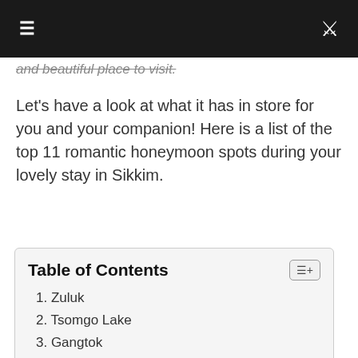≡  [navigation bar with hamburger menu and search icon]
and beautiful place to visit.
Let's have a look at what it has in store for you and your companion! Here is a list of the top 11 romantic honeymoon spots during your lovely stay in Sikkim.
Table of Contents
1. Zuluk
2. Tsomgo Lake
3. Gangtok
4. Pelling
5. Namchi
6. Teesta River
7. Yuksom
8. Ravangla